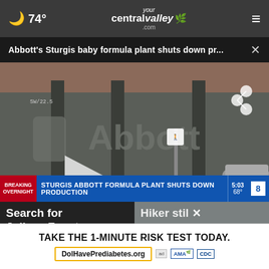🌙 74° yourcentralvalley.com ☰
Abbott's Sturgis baby formula plant shuts down pr... ×
[Figure (screenshot): News video screenshot showing the Abbott building exterior with Abbott logo on grey facade. A play button is visible. Breaking news ticker at bottom reads: BREAKING OVERNIGHT | STURGIS ABBOTT FORMULA PLANT SHUTS DOWN PRODUCTION | 5:03 68°]
Search for Jolissa Fuentes rea we
Hiker stil × a
TAKE THE 1-MINUTE RISK TEST TODAY. DolHavePrediabetes.org